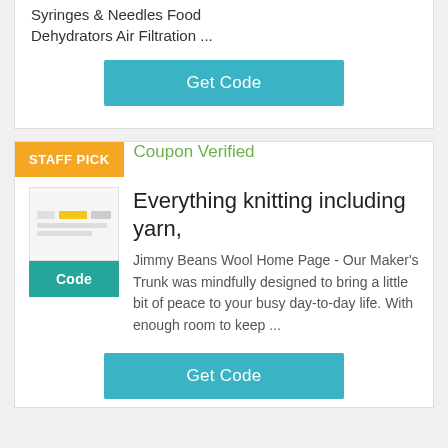Syringes & Needles Food Dehydrators Air Filtration ...
Get Code
STAFF PICK
Coupon Verified
Everything knitting including yarn,
Jimmy Beans Wool Home Page - Our Maker's Trunk was mindfully designed to bring a little bit of peace to your busy day-to-day life. With enough room to keep ...
[Figure (other): Small product thumbnail showing a knitting/wool store image with text and yellow highlight bars]
Code
Get Code